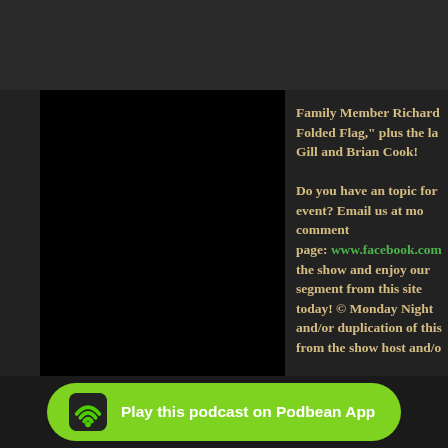[Figure (logo): Green WiFi icon on dark background, top left]
Follow
[Figure (illustration): Black rectangular area, likely podcast episode art]
Family Member Richard Folded Flag," plus the la Gill and Brian Cook! Do you have an topic for event? Email us at mo comment page: www.facebook.com the show and enjoy our segment from this site today! © Monday Night and/or duplication of this from the show host and/o
[Figure (photo): Photo of a man wearing a bandana, black t-shirt, holding a display case with military items]
Play this podcast on Podbean App